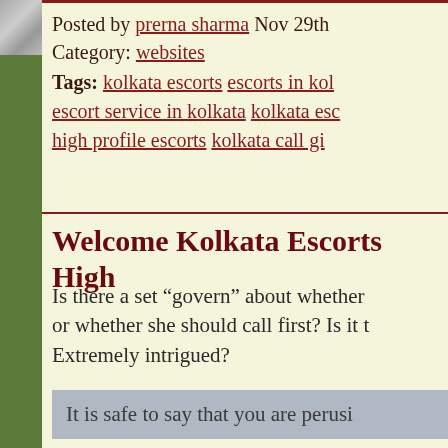Posted by prerna sharma Nov 29th
Category: websites
Tags: kolkata escorts escorts in kol escort service in kolkata kolkata esc high profile escorts kolkata call gi
Welcome Kolkata Escorts High
Is there a set “govern” about whether or whether she should call first? Is it t Extremely intrigued?
It is safe to say that you are perusi